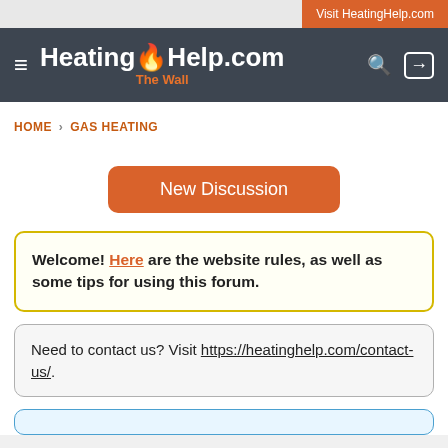Visit HeatingHelp.com
HeatingHelp.com The Wall
HOME › GAS HEATING
New Discussion
Welcome! Here are the website rules, as well as some tips for using this forum.
Need to contact us? Visit https://heatinghelp.com/contact-us/.